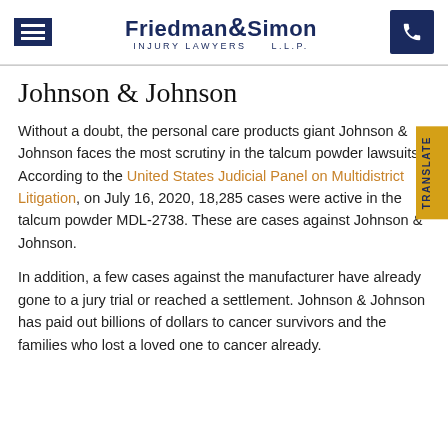Friedman & Simon Injury Lawyers L.L.P.
Johnson & Johnson
Without a doubt, the personal care products giant Johnson & Johnson faces the most scrutiny in the talcum powder lawsuits. According to the United States Judicial Panel on Multidistrict Litigation, on July 16, 2020, 18,285 cases were active in the talcum powder MDL-2738. These are cases against Johnson & Johnson.
In addition, a few cases against the manufacturer have already gone to a jury trial or reached a settlement. Johnson & Johnson has paid out billions of dollars to cancer survivors and the families who lost a loved one to cancer already.